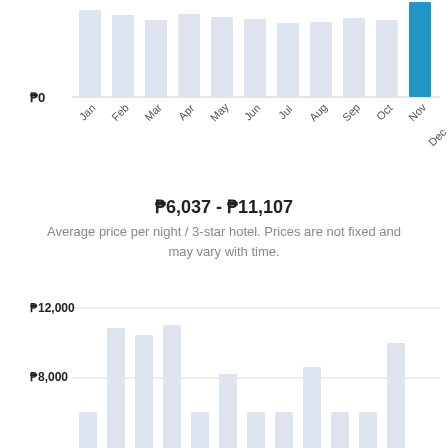[Figure (bar-chart): Hotel prices by month (top chart)]
₱6,037 - ₱11,107
Average price per night / 3-star hotel. Prices are not fixed and may vary with time.
[Figure (bar-chart): Hotel prices by month (bottom chart)]